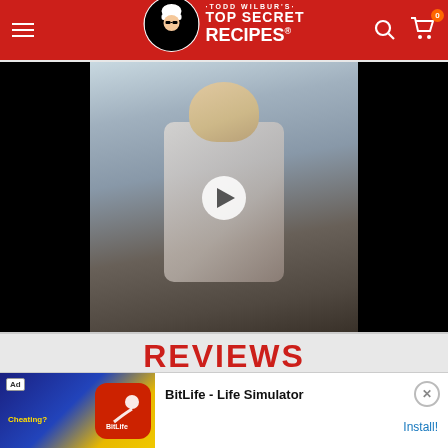Todd Wilbur's Top Secret Recipes
[Figure (screenshot): Video thumbnail showing a person in a floral shirt standing in a kitchen, with a play button overlay. The video player has black bars on the left and right sides.]
REVIEWS
[Figure (other): Five gold/orange star rating icons inside a white rounded rectangle box]
[Figure (other): Advertisement banner for BitLife - Life Simulator app with install button]